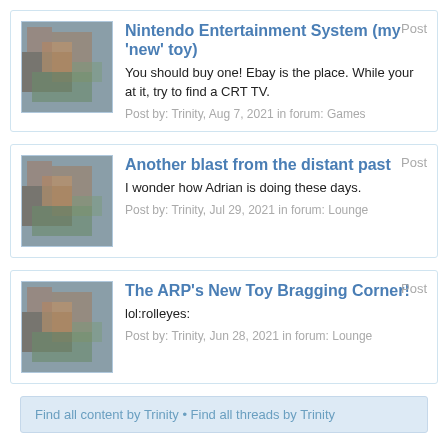Nintendo Entertainment System (my 'new' toy)
You should buy one! Ebay is the place. While your at it, try to find a CRT TV.
Post by: Trinity, Aug 7, 2021 in forum: Games
Another blast from the distant past
I wonder how Adrian is doing these days.
Post by: Trinity, Jul 29, 2021 in forum: Lounge
The ARP's New Toy Bragging Corner!
lol:rolleyes:
Post by: Trinity, Jun 28, 2021 in forum: Lounge
Find all content by Trinity • Find all threads by Trinity